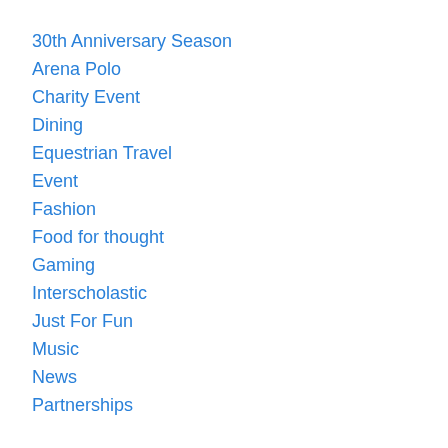30th Anniversary Season
Arena Polo
Charity Event
Dining
Equestrian Travel
Event
Fashion
Food for thought
Gaming
Interscholastic
Just For Fun
Music
News
Partnerships